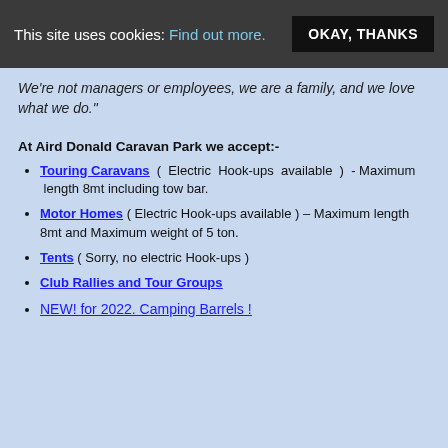This site uses cookies: Find out more. OKAY, THANKS
We're not managers or employees, we are a family, and we love what we do."
At Aird Donald Caravan Park we accept:-
Touring Caravans ( Electric Hook-ups available ) - Maximum length 8mt including tow bar.
Motor Homes ( Electric Hook-ups available ) – Maximum length 8mt and Maximum weight of 5 ton.
Tents ( Sorry, no electric Hook-ups )
Club Rallies and Tour Groups
NEW! for 2022. Camping Barrels !